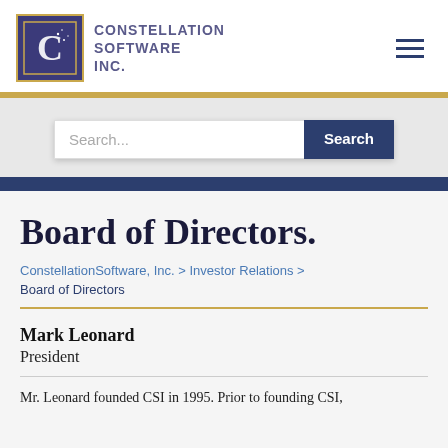[Figure (logo): Constellation Software Inc. logo with dark blue/purple square containing a 'C' with stars, beside company name text]
Board of Directors.
ConstellationSoftware, Inc. > Investor Relations > Board of Directors
Mark Leonard
President
Mr. Leonard founded CSI in 1995. Prior to founding CSI,